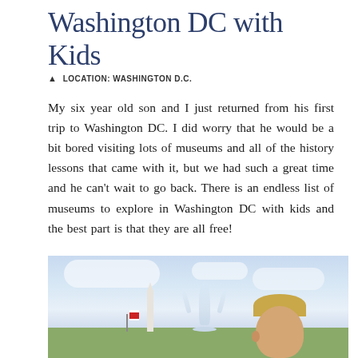Washington DC with Kids
📍 LOCATION: WASHINGTON D.C.
My six year old son and I just returned from his first trip to Washington DC. I did worry that he would be a bit bored visiting lots of museums and all of the history lessons that came with it, but we had such a great time and he can't wait to go back. There is an endless list of museums to explore in Washington DC with kids and the best part is that they are all free!
[Figure (photo): Photo of a child near a fountain with the Washington Monument visible in the background against a partly cloudy sky]